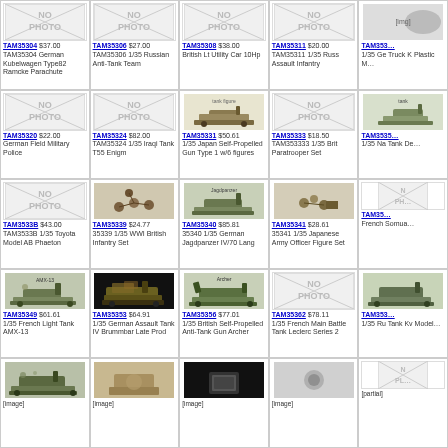| TAM35304 $37.00 TAM35304 German Kubelwagen Type82 Ramcke Parachute | TAM35306 $27.00 TAM35306 1/35 Russian Anti-Tank Team | TAM35308 $38.00 British Lt Utility Car 10Hp | TAM35311 $20.00 TAM35311 1/35 Russ Assault Infantry | TAM35 1/35 Ge Truck K Plastic |
| TAM35320 $22.00 German Field Military Police | TAM35324 $82.00 TAM35324 1/35 Iraqi Tank T55 Enigm | TAM35331 $50.61 1/35 Japan Self-Propelled Gun Type 1 w/6 figures | TAM35333 $18.50 TAM353333 1/35 Brit Paratrooper Set | TAM3535 1/35 Na Tank De |
| TAM3533B $43.00 TAM3533B 1/35 Toyota Model AB Phaeton | TAM35339 $24.77 35339 1/35 WWI British Infantry Set | TAM35340 $85.81 35340 1/35 German Jagdpanzer IV/70 Lang | TAM35341 $28.61 35341 1/35 Japanese Army Officer Figure Set | TAM353 French Somua |
| TAM35349 $61.61 1/35 French Light Tank AMX-13 | TAM35353 $64.91 1/35 German Assault Tank IV Brummbar Late Prod | TAM35356 $77.01 1/35 British Self-Propelled Anti-Tank Gun Archer | TAM35362 $78.11 1/35 French Main Battle Tank Leclerc Series 2 | TAM353 1/35 Ru Tank Kv Model |
| [image] | [image] | [image] | [image] | N PH |